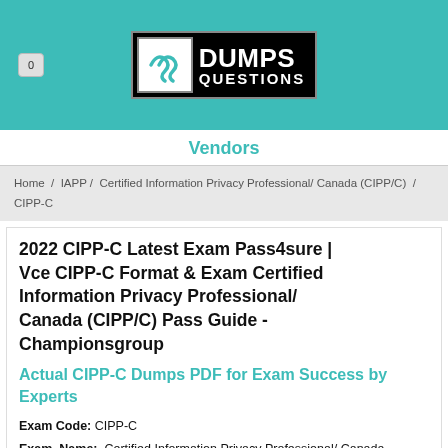0 | DUMPS QUESTIONS
Vendors
Home / IAPP / Certified Information Privacy Professional/ Canada (CIPP/C) / CIPP-C
2022 CIPP-C Latest Exam Pass4sure | Vce CIPP-C Format & Exam Certified Information Privacy Professional/ Canada (CIPP/C) Pass Guide - Championsgroup
Actual CIPP-C Dumps PDF for Exam Success by Experts
Exam Code: CIPP-C
Exam Name: Certified Information Privacy Professional/ Canada (CIPP/C)
Certification Provider: IAPP